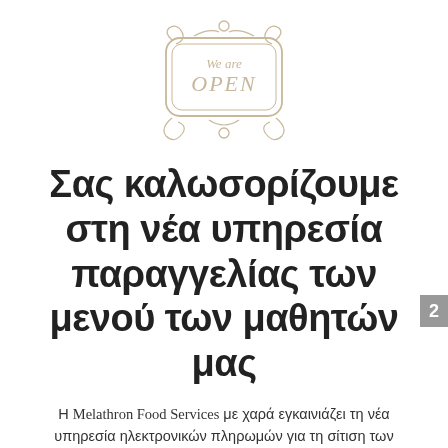[Figure (illustration): Decorative 'We are Open' sign illustration with ornate scroll and floral border, in a beige/tan line-art style]
Σας καλωσορίζουμε στη νέα υπηρεσία παραγγελίας των μενού των μαθητών μας
Η Melathron Food Services με χαρά εγκαινιάζει τη νέα υπηρεσία ηλεκτρονικών πληρωμών για τη σίτιση των μαθητών του Κολλεγίου «Ανατόλια»